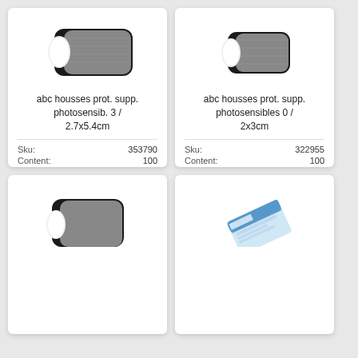[Figure (photo): Product image of abc housses prot. supp. photosensib. 3 / 2.7x5.4cm - a protective cover/sleeve with black border and gray interior, with white tab]
abc housses prot. supp. photosensib. 3 / 2.7x5.4cm
| Sku: | 353790 |
| Content: | 100 |
| Unit: | PACKUNG |
[Figure (photo): Product image of abc housses prot. supp. photosensibles 0 / 2x3cm - a smaller protective cover/sleeve with black border and gray interior, with white tab]
abc housses prot. supp. photosensibles 0 / 2x3cm
| Sku: | 322955 |
| Content: | 100 |
| Unit: | PACKUNG |
[Figure (photo): Partial view of another product - protective cover with black border, bottom of page cut off]
[Figure (photo): Partial view of another product - appears to be a packaged item with blue/white label, bottom of page cut off]